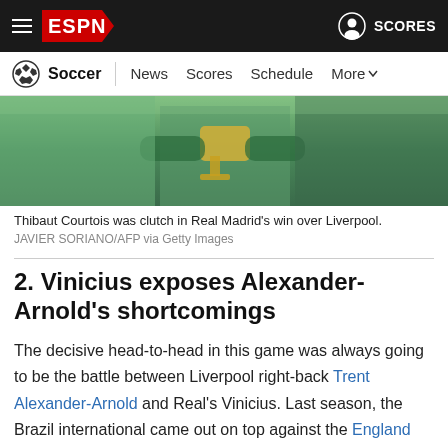ESPN - Soccer: News, Scores, Schedule, More
[Figure (photo): Photo of Thibaut Courtois with a trophy, greenish background]
Thibaut Courtois was clutch in Real Madrid's win over Liverpool.
JAVIER SORIANO/AFP via Getty Images
2. Vinicius exposes Alexander-Arnold's shortcomings
The decisive head-to-head in this game was always going to be the battle between Liverpool right-back Trent Alexander-Arnold and Real's Vinicius. Last season, the Brazil international came out on top against the England defender during a quarterfinal tie and he emerged as the winner again